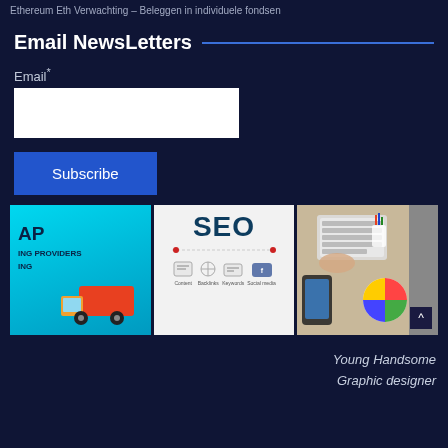Ethereum Eth Verwachting – Beleggen in individuele fondsen
Email NewsLetters
Email*
Subscribe
[Figure (photo): Three thumbnail images: first with a cyan shipping/logistics graphic with truck and text 'AP ING PROVIDERS ING'; second with SEO diagram showing Content, Backlinks, Keywords, Social media icons on white background; third with a workspace photo showing hands typing on keyboard, colorful charts, pencils, phone.]
Young Handsome Graphic designer